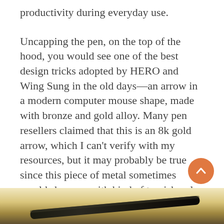productivity during everyday use.
Uncapping the pen, on the top of the hood, you would see one of the best design tricks adopted by HERO and Wing Sung in the old days—an arrow in a modern computer mouse shape, made with bronze and gold alloy. Many pen resellers claimed that this is an 8k gold arrow, which I can't verify with my resources, but it may probably be true since this piece of metal sometimes would show up with kind of tarnish only gold would have after years of stocking. I swipe it with a microfiber cloth several times, and it retained a rich bronze tone immediately.
[Figure (photo): Bottom strip of a photograph showing what appears to be a pen against a light beige/cream background, partially visible at the bottom of the page.]